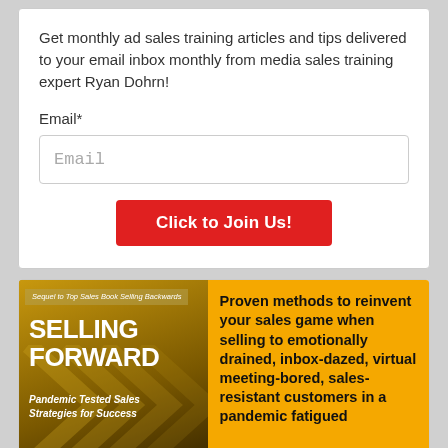Get monthly ad sales training articles and tips delivered to your email inbox monthly from media sales training expert Ryan Dohrn!
Email*
Email
Click to Join Us!
[Figure (photo): Book cover for 'Selling Forward: Pandemic Tested Sales Strategies for Success' with gold/brown design and arrow motifs]
Proven methods to reinvent your sales game when selling to emotionally drained, inbox-dazed, virtual meeting-bored, sales-resistant customers in a pandemic fatigued